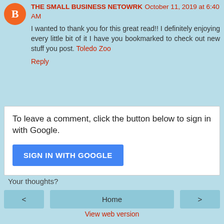THE SMALL BUSINESS NETOWRK October 11, 2019 at 6:40 AM
I wanted to thank you for this great read!! I definitely enjoying every little bit of it I have you bookmarked to check out new stuff you post. Toledo Zoo
Reply
To leave a comment, click the button below to sign in with Google.
SIGN IN WITH GOOGLE
Your thoughts?
Home
View web version
Irene Latham
View my complete profile